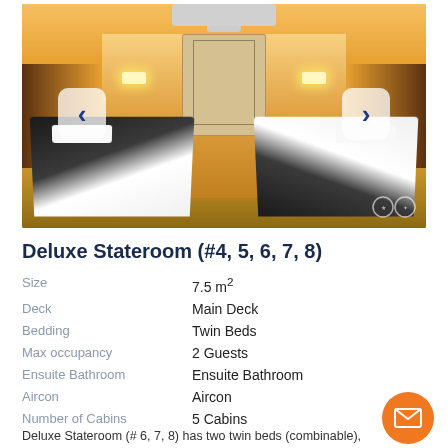[Figure (photo): Interior photo of a Deluxe Stateroom showing two twin beds with dark bedding, a wardrobe in the center, wall lamps, ceiling light, air conditioning unit, and wooden flooring. Navigation arrows (left and right) are overlaid on the photo.]
Deluxe Stateroom (#4, 5, 6, 7, 8)
| Size | 7.5 m² |
| Deck | Main Deck |
| Bedding | Twin Beds |
| Max occupancy | 2 Guests |
| Ensuite Bathroom | Ensuite Bathroom |
| Aircon | Aircon |
| Number of Cabins | 5 Cabins |
Deluxe Stateroom (# 6, 7, 8) has two twin beds (combinable), private